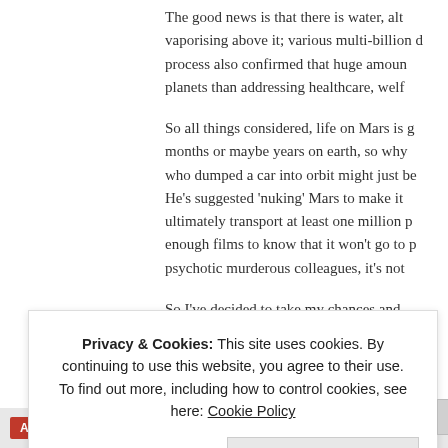The good news is that there is water, although it's vaporising above it; various multi-billion d... process also confirmed that huge amou... planets than addressing healthcare, wel...
So all things considered, life on Mars is g... months or maybe years on earth, so why... who dumped a car into orbit might just be... He's suggested 'nuking' Mars to make it ... ultimately transport at least one million p... enough films to know that it won't go to p... psychotic murderous colleagues, it's not ...
So I've decided to take my chances and ... back of the line of all the other things tryi...
Privacy & Cookies: This site uses cookies. By continuing to use this website, you agree to their use.
To find out more, including how to control cookies, see here: Cookie Policy
Close and accept
As in One Free App   DuckDuckGo